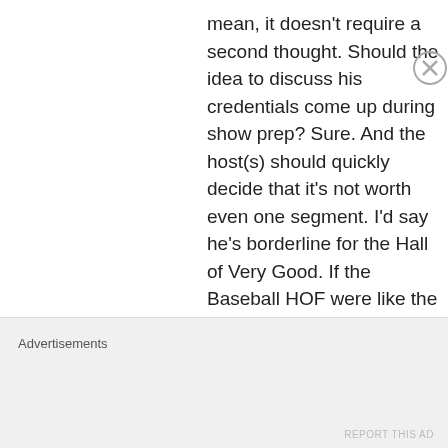mean, it doesn't require a second thought. Should the idea to discuss his credentials come up during show prep? Sure. And the host(s) should quickly decide that it's not worth even one segment. I'd say he's borderline for the Hall of Very Good. If the Baseball HOF were like the
Advertisements
REPORT THIS AD